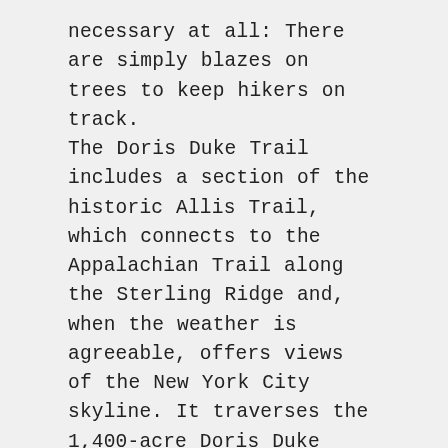necessary at all: There are simply blazes on trees to keep hikers on track. The Doris Duke Trail includes a section of the historic Allis Trail, which connects to the Appalachian Trail along the Sterling Ridge and, when the weather is agreeable, offers views of the New York City skyline. It traverses the 1,400-acre Doris Duke Wildlife Sanctuary,